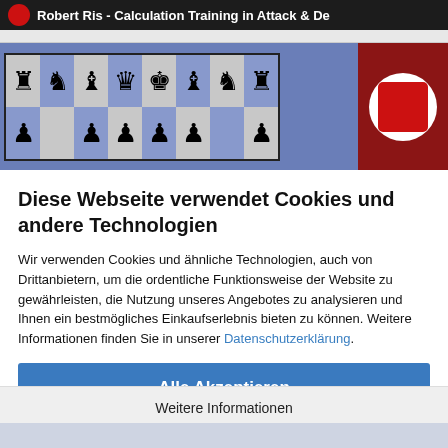[Figure (screenshot): Screenshot of a chess training website header showing 'Robert Ris - Calculation Training in Attack & De...' with a chessboard image displaying chess pieces on a blue/grey board, and a red branded logo panel on the right.]
Diese Webseite verwendet Cookies und andere Technologien
Wir verwenden Cookies und ähnliche Technologien, auch von Drittanbietern, um die ordentliche Funktionsweise der Website zu gewährleisten, die Nutzung unseres Angebotes zu analysieren und Ihnen ein bestmögliches Einkaufserlebnis bieten zu können. Weitere Informationen finden Sie in unserer Datenschutzerklärung.
Alle Akzeptieren
Weitere Informationen